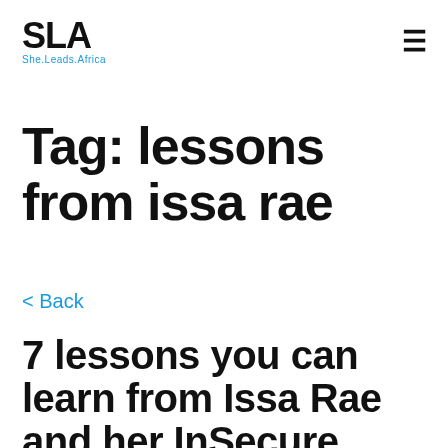SLA She.Leads.Africa
Tag: lessons from issa rae
< Back
7 lessons you can learn from Issa Rae and her InSecure journey